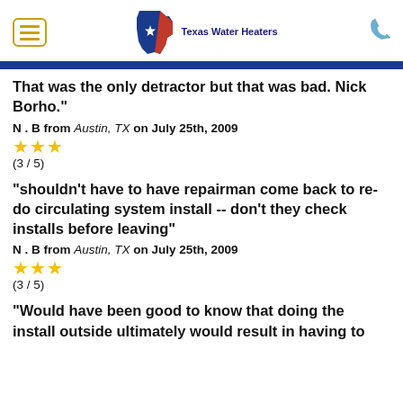Texas Water Heaters
That was the only detractor but that was bad. Nick Borho."
N . B from Austin, TX on July 25th, 2009
(3 / 5)
"shouldn't have to have repairman come back to re-do circulating system install -- don't they check installs before leaving"
N . B from Austin, TX on July 25th, 2009
(3 / 5)
"Would have been good to know that doing the install outside ultimately would result in having to